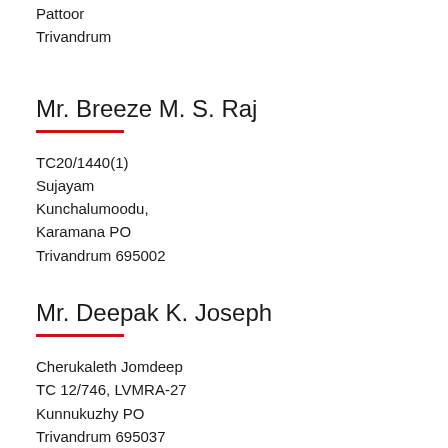Pattoor
Trivandrum
Mr. Breeze M. S. Raj
TC20/1440(1)
Sujayam
Kunchalumoodu,
Karamana PO
Trivandrum 695002
Mr. Deepak K. Joseph
Cherukaleth Jomdeep
TC 12/746, LVMRA-27
Kunnukuzhy PO
Trivandrum 695037